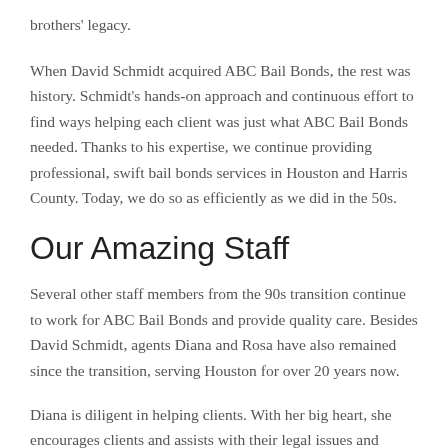brothers' legacy.
When David Schmidt acquired ABC Bail Bonds, the rest was history. Schmidt's hands-on approach and continuous effort to find ways helping each client was just what ABC Bail Bonds needed. Thanks to his expertise, we continue providing professional, swift bail bonds services in Houston and Harris County. Today, we do so as efficiently as we did in the 50s.
Our Amazing Staff
Several other staff members from the 90s transition continue to work for ABC Bail Bonds and provide quality care. Besides David Schmidt, agents Diana and Rosa have also remained since the transition, serving Houston for over 20 years now.
Diana is diligent in helping clients. With her big heart, she encourages clients and assists with their legal issues and scheduling. Diana is known for